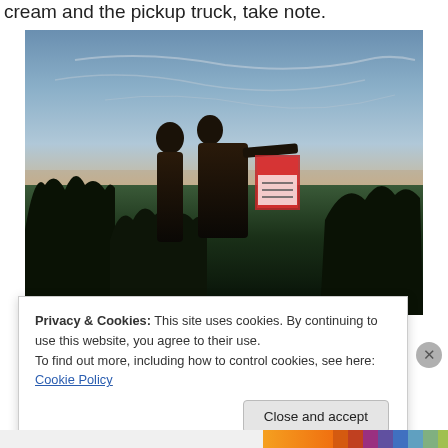cream and the pickup truck, take note.
[Figure (photo): Two people standing outdoors at dusk on a hilltop overlooking a wide landscape. One person has their arm extended. Trees are visible in the middle ground. A real estate sign is visible. Dramatic sky with clouds.]
Privacy & Cookies: This site uses cookies. By continuing to use this website, you agree to their use.
To find out more, including how to control cookies, see here: Cookie Policy
Close and accept